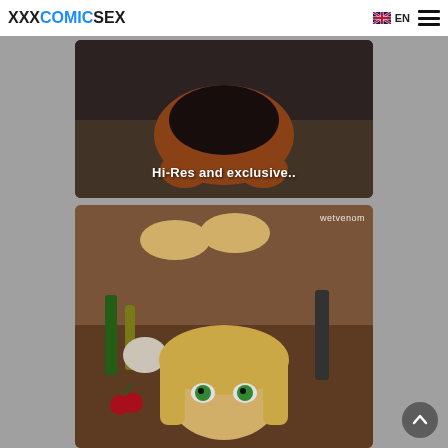XXXCOMICSEX  EN
[Figure (illustration): Anime-style illustration showing dark-colored creature/character in an alley-like setting with text overlay 'Hi-Res and exclusive..']
Hi-Res and exclusive..
[Figure (illustration): Anime/hentai-style illustration showing a blonde female character with green eyes surrounded by food and drink items, watermark 'wetvenom']